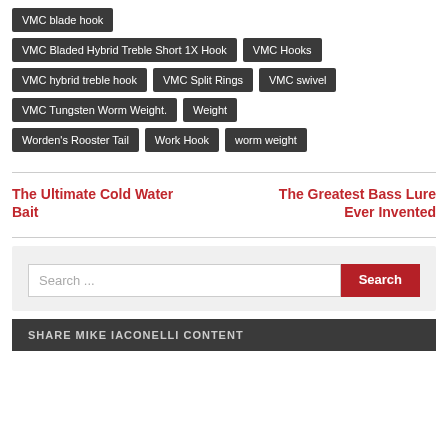VMC blade hook
VMC Bladed Hybrid Treble Short 1X Hook
VMC Hooks
VMC hybrid treble hook
VMC Split Rings
VMC swivel
VMC Tungsten Worm Weight.
Weight
Worden's Rooster Tail
Work Hook
worm weight
The Ultimate Cold Water Bait
The Greatest Bass Lure Ever Invented
Search ...
SHARE MIKE IACONELLI CONTENT